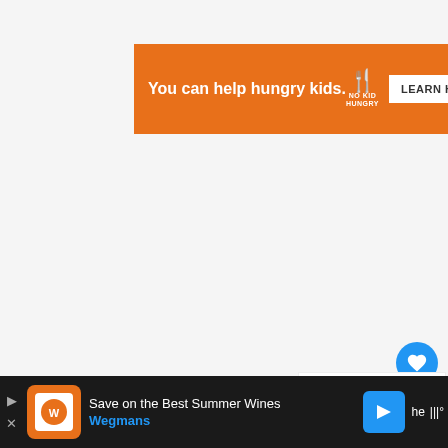[Figure (screenshot): Orange advertisement banner for No Kid Hungry charity with text 'You can help hungry kids.' and a 'LEARN HOW' button, with a close X in top right corner]
Bits -For every bit a streamer receives they get $0.01.
[Figure (screenshot): WHAT'S NEXT panel showing thumbnail and title 'Quin69 Net Worth -...']
[Figure (screenshot): Bottom advertisement bar for Wegmans 'Save on the Best Summer Wines' with logo and blue arrow navigation button]